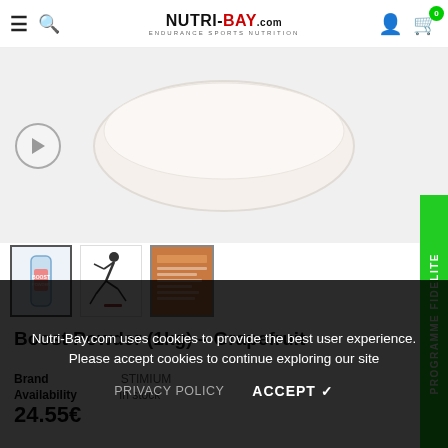NUTRI-BAY.com – ENDURANCE SPORTS NUTRITION, menu, search, user, cart (0)
[Figure (photo): Product image of Boost Powder (1kg) Grapefruit container shown from above, white/cream coloured bowl-like lid visible against light grey background. Play button icon on left side.]
[Figure (photo): Three product thumbnails: 1) Boost Powder bottle with label, 2) Runner silhouette figure, 3) Orange-background product info image]
[Figure (infographic): Green vertical sidebar reading 'PROGRAMME FIDELITE']
Boost Powder (1kg) – Grapefruit
Brand: STIMIUM
Availability: In stock
24.55€
Nutri-Bay.com uses cookies to provide the best user experience. Please accept cookies to continue exploring our site
PRIVACY POLICY   ACCEPT ✓
Do you want to improve your performance, always stay on top s…